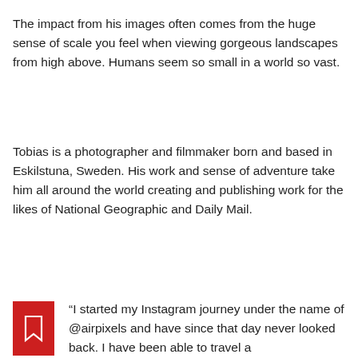The impact from his images often comes from the huge sense of scale you feel when viewing gorgeous landscapes from high above. Humans seem so small in a world so vast.
Tobias is a photographer and filmmaker born and based in Eskilstuna, Sweden. His work and sense of adventure take him all around the world creating and publishing work for the likes of National Geographic and Daily Mail.
“I started my Instagram journey under the name of @airpixels and have since that day never looked back. I have been able to travel a